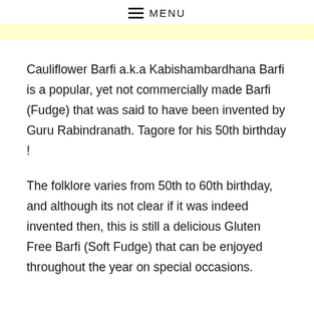≡ MENU
Cauliflower Barfi a.k.a Kabishambardhana Barfi is a popular, yet not commercially made Barfi (Fudge) that was said to have been invented by Guru Rabindranath. Tagore for his 50th birthday !
The folklore varies from 50th to 60th birthday, and although its not clear if it was indeed invented then, this is still a delicious Gluten Free Barfi (Soft Fudge) that can be enjoyed throughout the year on special occasions.